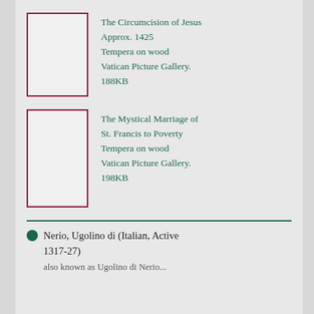[Figure (illustration): Placeholder thumbnail box with dark red border, representing a painting]
The Circumcision of Jesus
Approx. 1425
Tempera on wood
Vatican Picture Gallery.
188KB
[Figure (illustration): Placeholder thumbnail box with dark red border, representing a painting]
The Mystical Marriage of St. Francis to Poverty
Tempera on wood
Vatican Picture Gallery.
198KB
Nerio, Ugolino di (Italian, Active 1317-27)